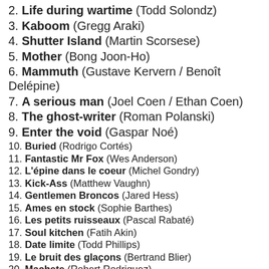2. Life during wartime (Todd Solondz)
3. Kaboom (Gregg Araki)
4. Shutter Island (Martin Scorsese)
5. Mother (Bong Joon-Ho)
6. Mammuth (Gustave Kervern / Benoît Delépine)
7. A serious man (Joel Coen / Ethan Coen)
8. The ghost-writer (Roman Polanski)
9. Enter the void (Gaspar Noé)
10. Buried (Rodrigo Cortés)
11. Fantastic Mr Fox (Wes Anderson)
12. L'épine dans le coeur (Michel Gondry)
13. Kick-Ass (Matthew Vaughn)
14. Gentlemen Broncos (Jared Hess)
15. Ames en stock (Sophie Barthes)
16. Les petits ruisseaux (Pascal Rabaté)
17. Soul kitchen (Fatih Akin)
18. Date limite (Todd Phillips)
19. Le bruit des glaçons (Bertrand Blier)
20. Machete (Robert Rodriguez)
21. I love you Phillip Morris (Glenn Ficarra / John Requa)